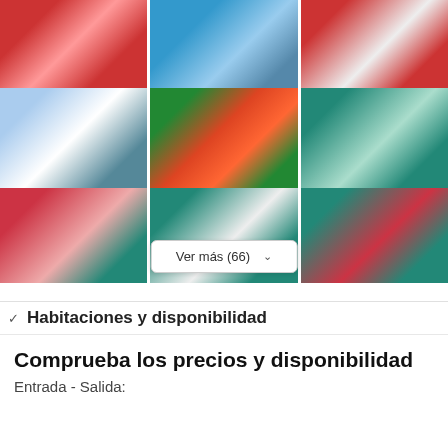[Figure (photo): 3x3 grid of hotel photos showing pool area with rainbow mat, pool with pink float, aerial view of hotel, hotel exterior with red accents, colorful corridor with rainbow columns, hotel bedroom with teal walls, hotel room with balcony, hotel room interior, hotel room with teal wardrobe]
Ver más (66)
Habitaciones y disponibilidad
Comprueba los precios y disponibilidad
Entrada - Salida: